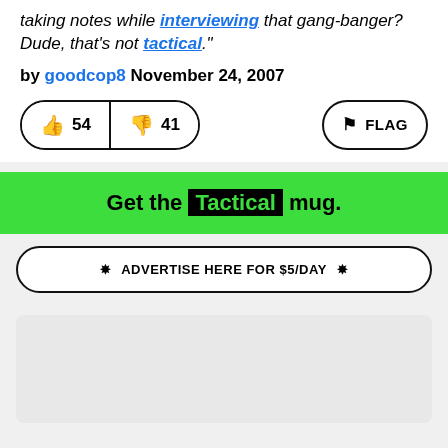taking notes while interviewing that gang-banger? Dude, that's not tactical."
by goodcop8 November 24, 2007
[Figure (screenshot): Thumbs up vote button showing 54, thumbs down button showing 41, and a FLAG button]
Get the Tactical mug.
ADVERTISE HERE FOR $5/DAY
[Figure (other): Empty grey content box area]